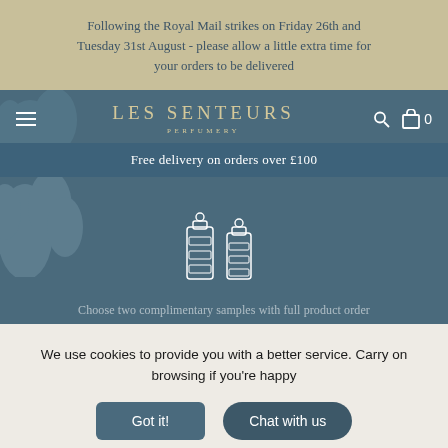Following the Royal Mail strikes on Friday 26th and Tuesday 31st August - please allow a little extra time for your orders to be delivered
LES SENTEURS PERFUMERY
Free delivery on orders over £100
[Figure (illustration): Two perfume bottle illustrations in white outline on blue background]
Choose two complimentary samples with full product order
We use cookies to provide you with a better service. Carry on browsing if you're happy
Got it!
Chat with us